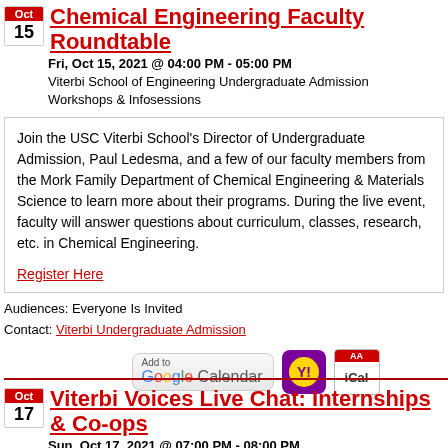Chemical Engineering Faculty Roundtable
Fri, Oct 15, 2021 @ 04:00 PM - 05:00 PM
Viterbi School of Engineering Undergraduate Admission Workshops & Infosessions
Join the USC Viterbi School's Director of Undergraduate Admission, Paul Ledesma, and a few of our faculty members from the Mork Family Department of Chemical Engineering & Materials Science to learn more about their programs. During the live event, faculty will answer questions about curriculum, classes, research, etc. in Chemical Engineering.

Register Here
Audiences: Everyone Is Invited
Contact: Viterbi Undergraduate Admission
[Figure (infographic): Add to Google Calendar, Yahoo Calendar, and iCal buttons]
Viterbi Voices Live Chat: Internships & Co-ops
Sun, Oct 17, 2021 @ 07:00 PM - 08:00 PM
Viterbi School of Engineering Undergraduate Admission Workshops & Infosessions